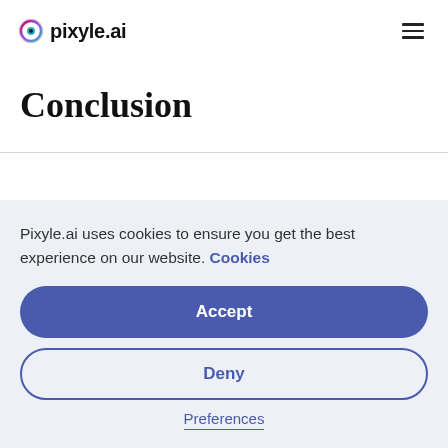pixyle.ai
Conclusion
Pixyle.ai uses cookies to ensure you get the best experience on our website. Cookies
Accept
Deny
Preferences